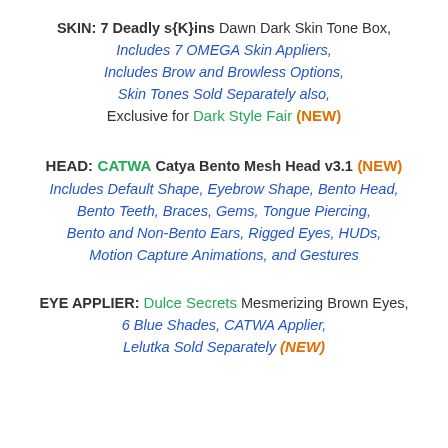SKIN: 7 Deadly s{K}ins Dawn Dark Skin Tone Box, Includes 7 OMEGA Skin Appliers, Includes Brow and Browless Options, Skin Tones Sold Separately also, Exclusive for Dark Style Fair (NEW)
HEAD: CATWA Catya Bento Mesh Head v3.1 (NEW) Includes Default Shape, Eyebrow Shape, Bento Head, Bento Teeth, Braces, Gems, Tongue Piercing, Bento and Non-Bento Ears, Rigged Eyes, HUDs, Motion Capture Animations, and Gestures
EYE APPLIER: Dulce Secrets Mesmerizing Brown Eyes, 6 Blue Shades, CATWA Applier, Lelutka Sold Separately (NEW)